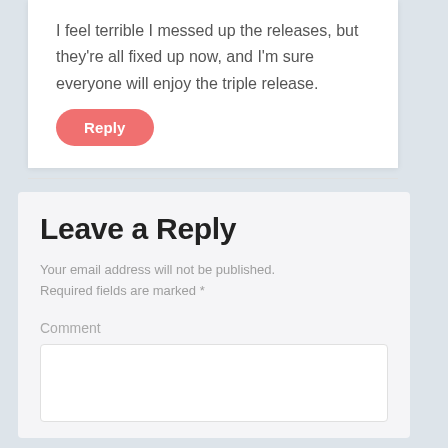I feel terrible I messed up the releases, but they’re all fixed up now, and I’m sure everyone will enjoy the triple release.
Reply
Leave a Reply
Your email address will not be published. Required fields are marked *
Comment